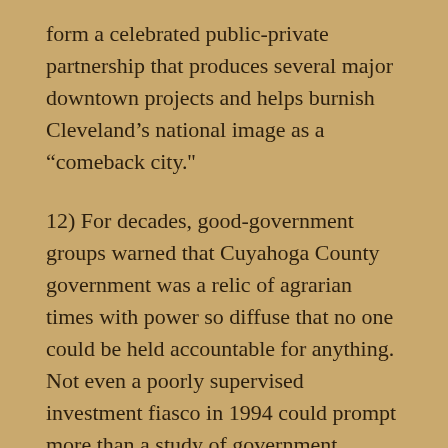form a celebrated public-private partnership that produces several major downtown projects and helps burnish Cleveland’s national image as a “comeback city.''
12) For decades, good-government groups warned that Cuyahoga County government was a relic of agrarian times with power so diffuse that no one could be held accountable for anything. Not even a poorly supervised investment fiasco in 1994 could prompt more than a study of government reform – that was shelved as soon as public angry subsided. All that changes on July 28, 2008, when nearly 200 federal agents descend on the County Administration Building, the homes of the